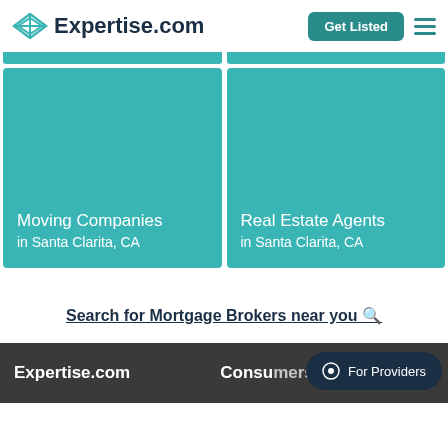Expertise.com
[Figure (illustration): Two teal category cards: 'Moving Companies in Santa Clarita, CA' and 'Real Estate Agents in Santa Clarita, CA']
Search for Mortgage Brokers near you 🔍
Expertise.com  Consumers  For Providers